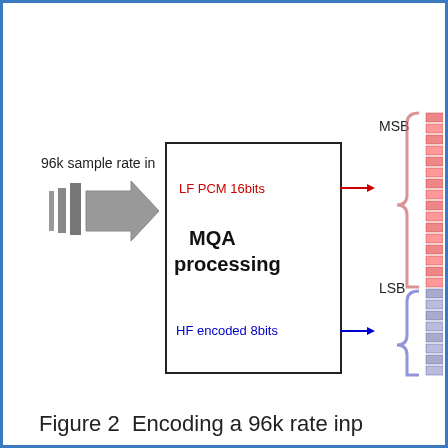[Figure (schematic): MQA encoding schematic showing 96k sample rate input going through a large gray arrow into an MQA processing box. The box outputs LF PCM 16bits (red arrow) to MSB region and HF encoded 8bits (blue arrow) to LSB region of a 24-bit word represented as horizontal striped bars on the right. Red curly brace groups MSB bits, blue curly brace groups LSB bits.]
Figure 2  Encoding a 96k rate inp